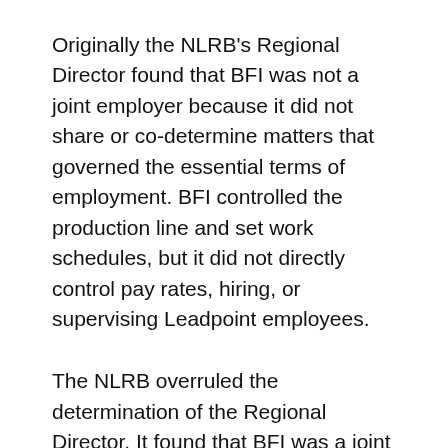Originally the NLRB's Regional Director found that BFI was not a joint employer because it did not share or co-determine matters that governed the essential terms of employment. BFI controlled the production line and set work schedules, but it did not directly control pay rates, hiring, or supervising Leadpoint employees.
The NLRB overruled the determination of the Regional Director. It found that BFI was a joint employer because, even though it had mostly indirect interaction with Leadpoint employees, it still had enormous influence over their terms and conditions of employment. An election was held, and the Teamsters won the right to represent the Leadpoint employees.